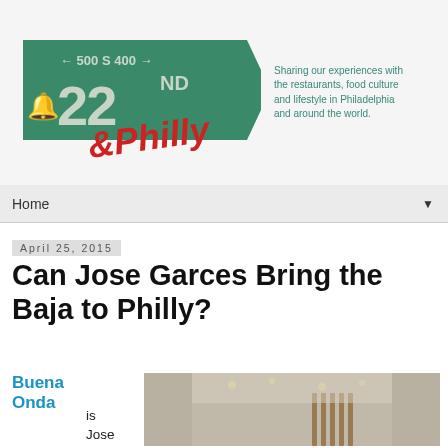[Figure (logo): 22nd and Philly blog logo: a green highway sign reading '500 S 400 / 22 ND' with a Liberty Bell icon and red '&Philly' text overlay]
Sharing our experiences with the restaurants, food culture and lifestyle in Philadelphia and around the world.
Home
April 25, 2015
Can Jose Garces Bring the Baja to Philly?
Buena Onda
is Jose
[Figure (photo): Interior photo of a modern restaurant with pendant lighting, wooden slat partition, and light-colored walls]